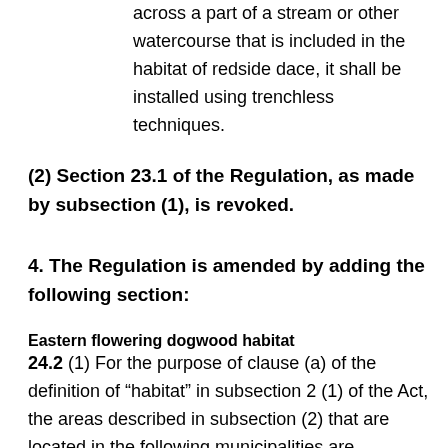across a part of a stream or other watercourse that is included in the habitat of redside dace, it shall be installed using trenchless techniques.
(2) Section 23.1 of the Regulation, as made by subsection (1), is revoked.
4. The Regulation is amended by adding the following section:
Eastern flowering dogwood habitat
24.2 (1) For the purpose of clause (a) of the definition of “habitat” in subsection 2 (1) of the Act, the areas described in subsection (2) that are located in the following municipalities are prescribed as the habitat of eastern flowering